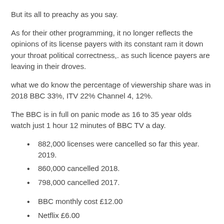But its all to preachy as you say.
As for their other programming, it no longer reflects the opinions of its license payers with its constant ram it down your throat political correctness,. as such licence payers are leaving in their droves.
what we do know the percentage of viewership share was in 2018 BBC 33%, ITV 22% Channel 4, 12%.
The BBC is in full on panic mode as 16 to 35 year olds watch just 1 hour 12 minutes of BBC TV a day.
882,000 licenses were cancelled so far this year. 2019.
860,000 cancelled 2018.
798,000 cancelled 2017.
BBC monthly cost £12.00
Netflix £6.00
Amazon Prime £6.50